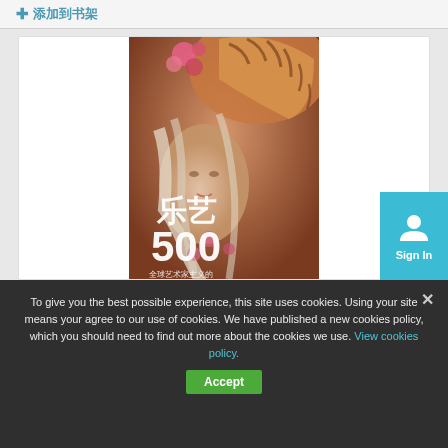+ 添加到书架
[Figure (illustration): Book cover showing an illustrated woman with white hair, flowers, and a tiger. Chinese text reads 乐艺 500 全球艺术家主义的500幅妙用色插图]
[Figure (infographic): Teal Sign In button with person icon and 'Sign In' text]
To give you the best possible experience, this site uses cookies. Using your site means your agree to our use of cookies. We have published a new cookies policy, which you should need to find out more about the cookies we use. View cookies policy.
Accept